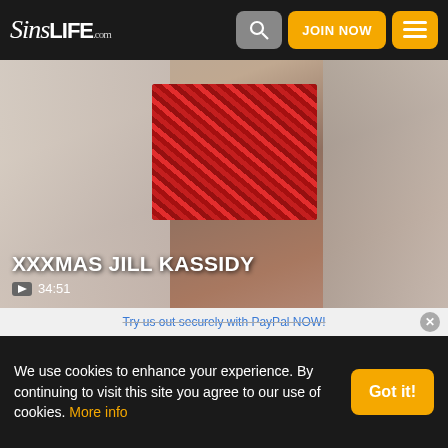SinsLife.com — JOIN NOW
[Figure (screenshot): Video thumbnail for XXXMAS JILL KASSIDY showing a gift box scene with red decorations]
XXXMAS JILL KASSIDY
34:51
[Figure (screenshot): Second video thumbnail showing a figure from above]
Try us out securely with PayPal NOW!
We use cookies to enhance your experience. By continuing to visit this site you agree to our use of cookies. More info